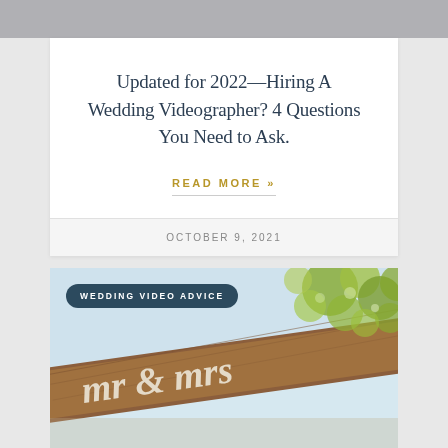Updated for 2022—Hiring A Wedding Videographer? 4 Questions You Need to Ask.
READ MORE »
OCTOBER 9, 2021
[Figure (photo): Close-up photo of a wooden wedding sign with cursive 'Mr & Mrs' lettering, with green-leaved trees in the background. A dark teal badge overlay reads 'WEDDING VIDEO ADVICE'.]